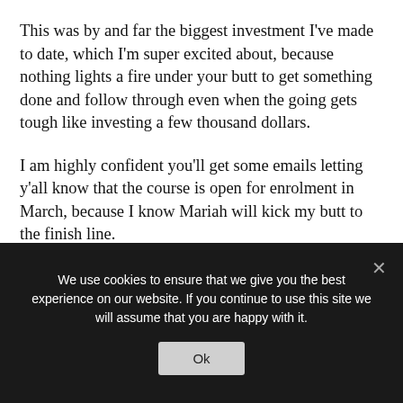This was by and far the biggest investment I've made to date, which I'm super excited about, because nothing lights a fire under your butt to get something done and follow through even when the going gets tough like investing a few thousand dollars.
I am highly confident you'll get some emails letting y'all know that the course is open for enrolment in March, because I know Mariah will kick my butt to the finish line.
I won't mention jussst yet what my course is
We use cookies to ensure that we give you the best experience on our website. If you continue to use this site we will assume that you are happy with it.